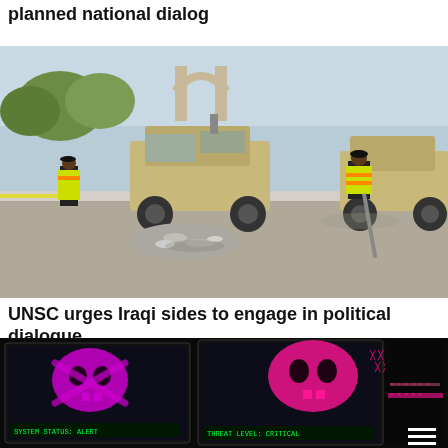planned national dialog
[Figure (photo): Street scene with military Humvee vehicles and workers in high-visibility yellow/orange vests cleaning up debris on a street, with an arch monument visible in the background.]
UNSC urges Iraqi sides to engage in political dialogue
[Figure (photo): Dark room showing multiple computer monitors displaying colorful cyber security threat visualizations with skull-and-crossbones imagery in pink/magenta on dark backgrounds, and green terminal text. A hamburger menu icon is visible in the bottom right corner.]